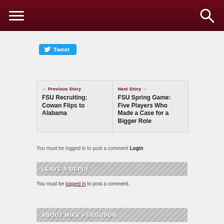Navigation header bar with menu and search icons
Tweet
← Previous Story FSU Recruiting: Cowan Flips to Alabama | Next Story → FSU Spring Game: Five Players Who Made a Case for a Bigger Role
You must be logged in to post a comment Login
LEAVE A REPLY
You must be logged in to post a comment.
ABOUT MIKE FERGUSON